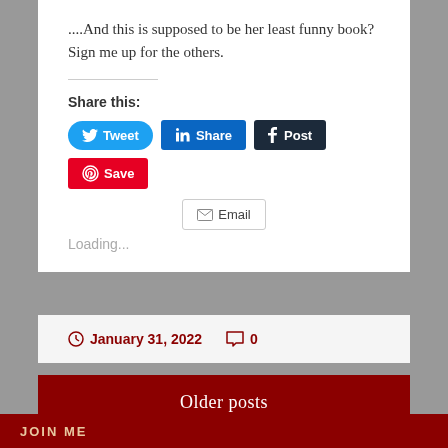....And this is supposed to be her least funny book? Sign me up for the others.
Share this:
[Figure (screenshot): Social sharing buttons: Tweet (Twitter/blue), Share (LinkedIn/blue), Post (Tumblr/dark), Save (Pinterest/red), Email (gray outline)]
Loading...
January 31, 2022  0
Older posts
JOIN ME